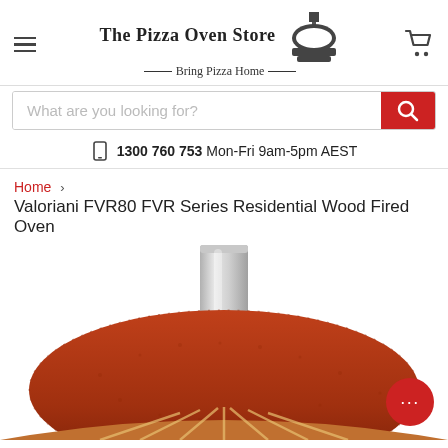The Pizza Oven Store — Bring Pizza Home
What are you looking for?
1300 760 753 Mon-Fri 9am-5pm AEST
Home › Valoriani FVR80 FVR Series Residential Wood Fired Oven
Valoriani FVR80 FVR Series Residential Wood Fired Oven
[Figure (photo): Top view of a Valoriani FVR80 wood fired pizza oven showing the terracotta dome with a metal flue pipe chimney rising from the center, and the curved arch base visible below.]